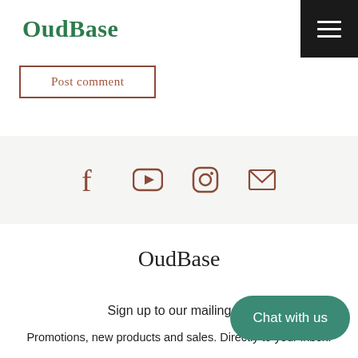OudBase
Post comment
[Figure (infographic): Social media icons: Facebook, YouTube, Instagram, Email/Envelope — displayed in a light grey banner]
OudBase
Sign up to our mailing list
Promotions, new products and sales. Directly to your inbox.
Chat with us